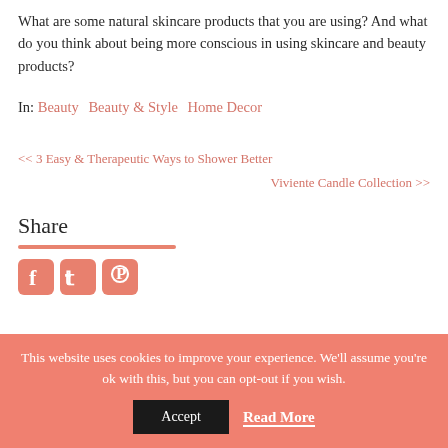What are some natural skincare products that you are using? And what do you think about being more conscious in using skincare and beauty products?
In: Beauty   Beauty & Style   Home Decor
<< 3 Easy & Therapeutic Ways to Shower Better
Viviente Candle Collection >>
Share
[Figure (other): Social media share icons: Facebook, Twitter, Pinterest]
This website uses cookies to improve your experience. We'll assume you're ok with this, but you can opt-out if you wish.
Accept   Read More